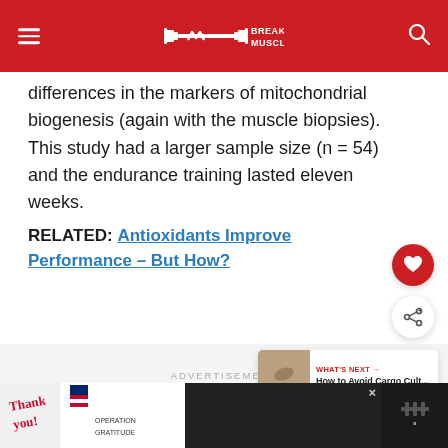BREAKING MUSCLE
differences in the markers of mitochondrial biogenesis (again with the muscle biopsies). This study had a larger sample size (n = 54) and the endurance training lasted eleven weeks.
RELATED: Antioxidants Improve Performance – But How?
ADVERTISEMENT
WHAT'S NEXT → How to Avoid Cargo Cult...